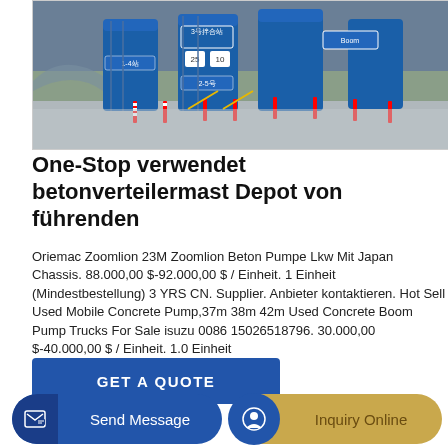[Figure (photo): Photograph of a concrete batching plant with large blue silos and industrial equipment, showing Chinese signage. Outdoor industrial facility with concrete floor.]
One-Stop verwendet betonverteilermast Depot von führenden
Oriemac Zoomlion 23M Zoomlion Beton Pumpe Lkw Mit Japan Chassis. 88.000,00 $-92.000,00 $ / Einheit. 1 Einheit (Mindestbestellung) 3 YRS CN. Supplier. Anbieter kontaktieren. Hot Sell Used Mobile Concrete Pump,37m 38m 42m Used Concrete Boom Pump Trucks For Sale isuzu 0086 15026518796. 30.000,00 $-40.000,00 $ / Einheit. 1.0 Einheit
GET A QUOTE
Send Message
Inquiry Online